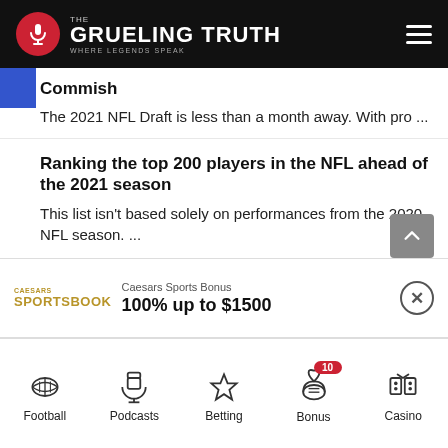The Grueling Truth — Where Legends Speak
Commish
The 2021 NFL Draft is less than a month away. With pro ...
Ranking the top 200 players in the NFL ahead of the 2021 season
This list isn't based solely on performances from the 2020 NFL season. ...
The Army Boxer Who Knocked-Down Muhammad Ali (1960)
I had wanted to write a boxing story about
Caesars Sports Bonus
100% up to $1500
Football | Podcasts | Betting | Bonus | Casino